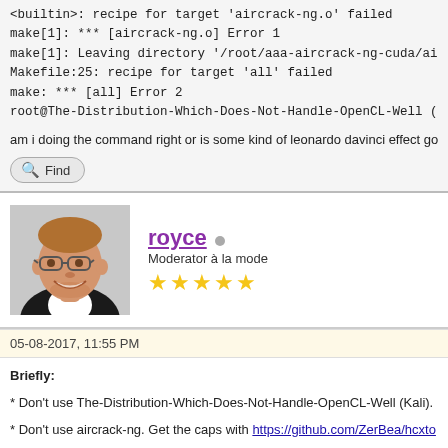<builtin>: recipe for target 'aircrack-ng.o' failed
make[1]: *** [aircrack-ng.o] Error 1
make[1]: Leaving directory '/root/aaa-aircrack-ng-cuda/aircrack-ng-1.2-beta...
Makefile:25: recipe for target 'all' failed
make: *** [all] Error 2
root@The-Distribution-Which-Does-Not-Handle-OpenCL-Well (Kali):~/aaa...
am i doing the command right or is some kind of leonardo davinci effect go...
Find
royce
Moderator à la mode
★★★★★
05-08-2017, 11:55 PM
Briefly:
* Don't use The-Distribution-Which-Does-Not-Handle-OpenCL-Well (Kali).
* Don't use aircrack-ng. Get the caps with https://github.com/ZerBea/hcxto... and get them into hashcat's hccapx format, and use hashcat to attack.
~
Find